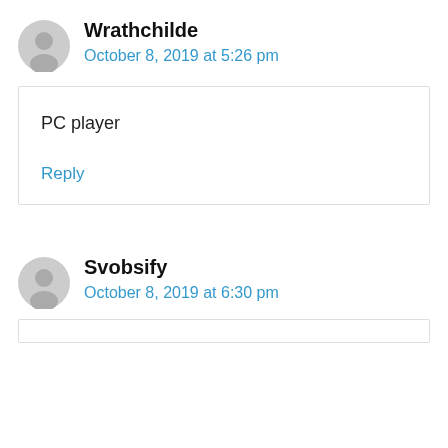Wrathchilde
October 8, 2019 at 5:26 pm
PC player
Reply
Svobsify
October 8, 2019 at 6:30 pm